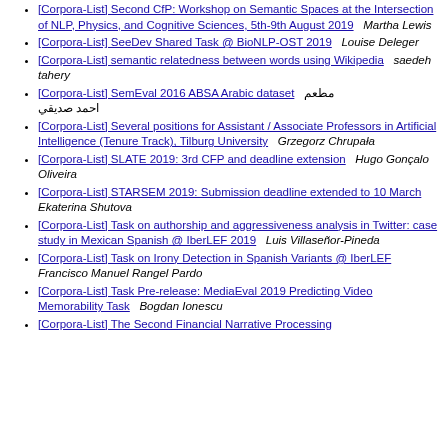[Corpora-List] Second CfP: Workshop on Semantic Spaces at the Intersection of NLP, Physics, and Cognitive Sciences, 5th-9th August 2019   Martha Lewis
[Corpora-List] SeeDev Shared Task @ BioNLP-OST 2019   Louise Deleger
[Corpora-List] semantic relatedness between words using Wikipedia   saedeh tahery
[Corpora-List] SemEval 2016 ABSA Arabic dataset   [Arabic text] احمد صديقي
[Corpora-List] Several positions for Assistant / Associate Professors in Artificial Intelligence (Tenure Track), Tilburg University   Grzegorz Chrupała
[Corpora-List] SLATE 2019: 3rd CFP and deadline extension   Hugo Gonçalo Oliveira
[Corpora-List] STARSEM 2019: Submission deadline extended to 10 March   Ekaterina Shutova
[Corpora-List] Task on authorship and aggressiveness analysis in Twitter: case study in Mexican Spanish @ IberLEF 2019   Luis Villaseñor-Pineda
[Corpora-List] Task on Irony Detection in Spanish Variants @ IberLEF   Francisco Manuel Rangel Pardo
[Corpora-List] Task Pre-release: MediaEval 2019 Predicting Video Memorability Task   Bogdan Ionescu
[Corpora-List] The Second Financial Narrative Processing Workshop (FNP 2019)   Sina Zarrieß